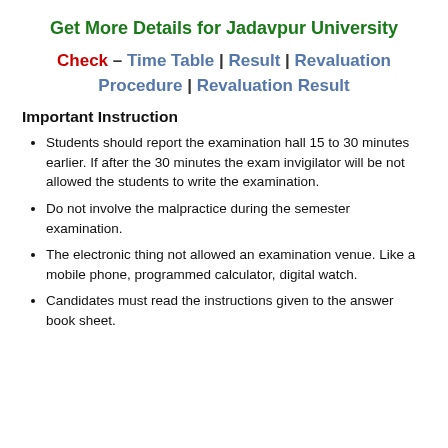Get More Details for Jadavpur University
Check – Time Table | Result | Revaluation Procedure | Revaluation Result
Important Instruction
Students should report the examination hall 15 to 30 minutes earlier. If after the 30 minutes the exam invigilator will be not allowed the students to write the examination.
Do not involve the malpractice during the semester examination.
The electronic thing not allowed an examination venue. Like a mobile phone, programmed calculator, digital watch.
Candidates must read the instructions given to the answer book sheet.